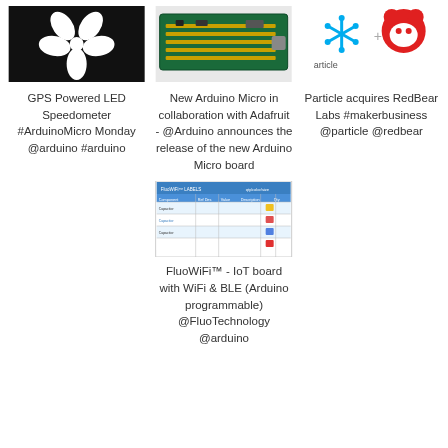[Figure (photo): Black background with white flower logo]
GPS Powered LED Speedometer #ArduinoMicro Monday @arduino #arduino
[Figure (photo): Arduino Micro board PCB photo]
New Arduino Micro in collaboration with Adafruit - @Arduino announces the release of the new Arduino Micro board
[Figure (logo): Particle logo and RedBear logo side by side]
Particle acquires RedBear Labs #makerbusiness @particle @redbear
[Figure (screenshot): FluoWiFi IoT board specification table screenshot]
FluoWiFi™ - IoT board with WiFi & BLE (Arduino programmable) @FluoTechnology @arduino